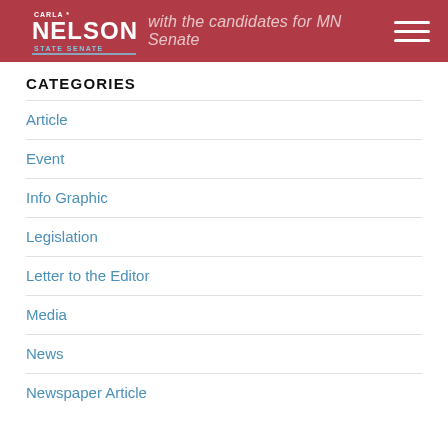Carla Nelson State Senate — with the candidates for MN Senate
CATEGORIES
Article
Event
Info Graphic
Legislation
Letter to the Editor
Media
News
Newspaper Article